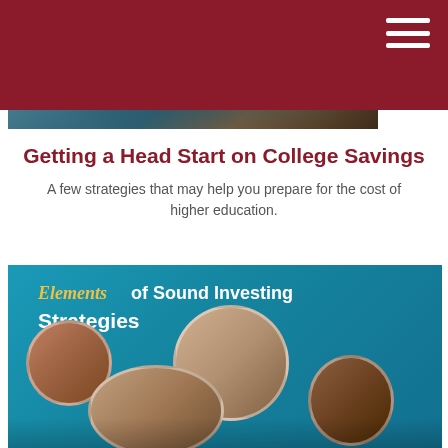[Figure (photo): Header photo of a person using a tablet/laptop, partially visible, with dark teal and brown tones. Dark red/maroon header bar overlaid on top.]
Getting a Head Start on College Savings
A few strategies that may help you prepare for the cost of higher education.
[Figure (photo): Photo of a brochure titled 'Elements of Sound Investing Strategies' on a teal background, with circular portrait photos of smiling people including a woman, an older couple, a group with children, and a man.]